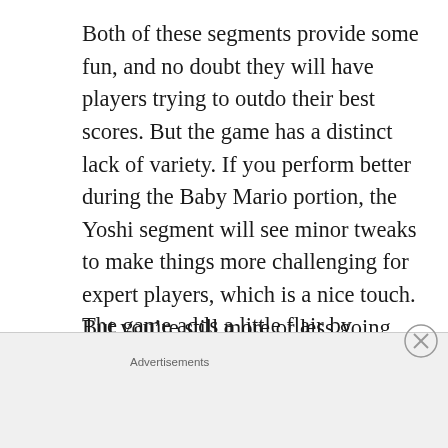Both of these segments provide some fun, and no doubt they will have players trying to outdo their best scores. But the game has a distinct lack of variety. If you perform better during the Baby Mario portion, the Yoshi segment will see minor tweaks to make things more challenging for expert players, which is a nice touch. But you’re still more or less going through the same stage on repeat.
The game adds a little flair by including multiple modes: Score Attack sees
Advertisements